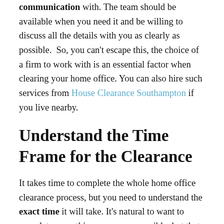communication with. The team should be available when you need it and be willing to discuss all the details with you as clearly as possible.  So, you can't escape this, the choice of a firm to work with is an essential factor when clearing your home office. You can also hire such services from House Clearance Southampton if you live nearby.
Understand the Time Frame for the Clearance
It takes time to complete the whole home office clearance process, but you need to understand the exact time it will take. It's natural to want to complete everything as soon as possible, but that depends on how big the work will be. The time it takes to